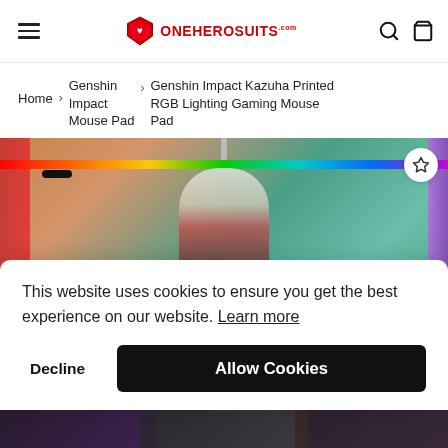ONEHEROSUITS.COM
Home > Genshin Impact Mouse Pad > Genshin Impact Kazuha Printed RGB Lighting Gaming Mouse Pad
[Figure (photo): Genshin Impact Kazuha gaming mouse pad with RGB lighting strip along the top edge, product image showing anime character on teal background with red and multicolor LED strip]
This website uses cookies to ensure you get the best experience on our website. Learn more
Decline   Allow Cookies
[Figure (photo): Bottom strip showing dark gaming product thumbnails]